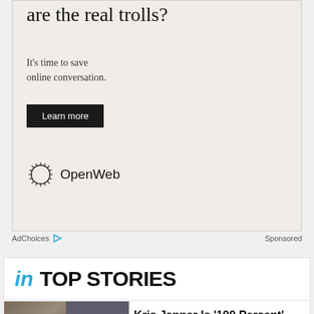[Figure (other): Advertisement with text 'are the real trolls?' and 'It's time to save online conversation.' with a Learn more button and OpenWeb logo]
AdChoices ▷    Sponsored
IN TOP STORIES
Kris Jenner Is '100 Percent' Behind Khloe Kardashian's Decision to Raise Her Son 'Solo'
[Figure (other): Bottom advertisement banner: $1 AN ISSUE SUBSCRIBE NOW with magazine cover images]